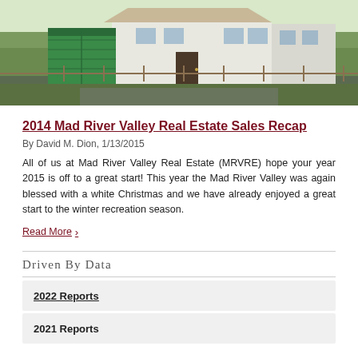[Figure (photo): Exterior photo of a house with green garage door and white siding, with a wooden fence and green lawn in the foreground]
2014 Mad River Valley Real Estate Sales Recap
By David M. Dion, 1/13/2015
All of us at Mad River Valley Real Estate (MRVRE) hope your year 2015 is off to a great start! This year the Mad River Valley was again blessed with a white Christmas and we have already enjoyed a great start to the winter recreation season.
Read More >
Driven By Data
2022 Reports
2021 Reports